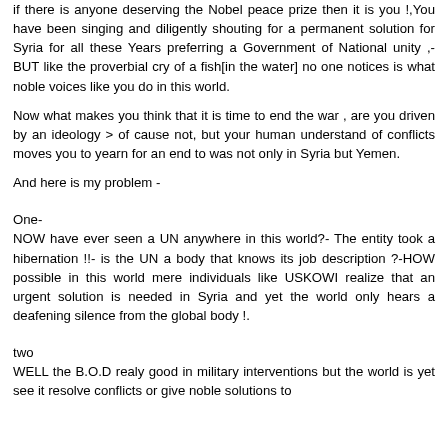if there is anyone deserving the Nobel peace prize then it is you !,You have been singing and diligently shouting for a permanent solution for Syria for all these Years preferring a Government of National unity ,-BUT like the proverbial cry of a fish[in the water] no one notices is what noble voices like you do in this world.
Now what makes you think that it is time to end the war , are you driven by an ideology > of cause not, but your human understand of conflicts moves you to yearn for an end to was not only in Syria but Yemen.
And here is my problem -
One-
NOW have ever seen a UN anywhere in this world?- The entity took a hibernation !!- is the UN a body that knows its job description ?-HOW possible in this world mere individuals like USKOWI realize that an urgent solution is needed in Syria and yet the world only hears a deafening silence from the global body !.
two
WELL the B.O.D realy good in military interventions but the world is yet see it resolve conflicts or give noble solutions to